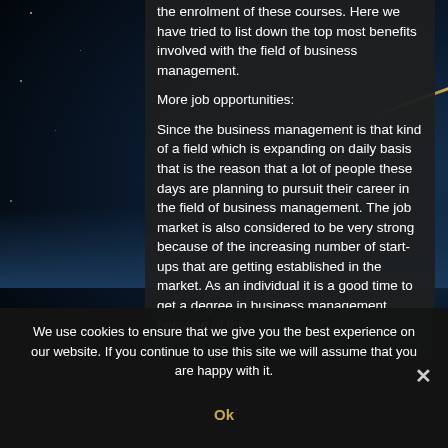the enrolment of these courses. Here we have tried to list down the top most benefits involved with the field of business management.
More job opportunities:
Since the business management is that kind of a field which is expanding on daily basis that is the reason that a lot of people these days are planning to pursuit their career in the field of business management. The job market is also considered to be very strong because of the increasing number of start-ups that are getting established in the market. As an individual it is a good time to get a degree in business management because of the
We use cookies to ensure that we give you the best experience on our website. If you continue to use this site we will assume that you are happy with it.
Ok